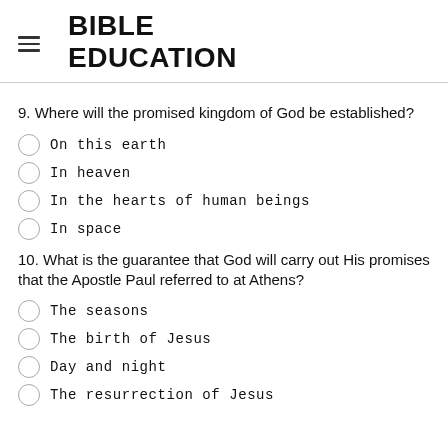BIBLE EDUCATION
9. Where will the promised kingdom of God be established?
On this earth
In heaven
In the hearts of human beings
In space
10. What is the guarantee that God will carry out His promises that the Apostle Paul referred to at Athens?
The seasons
The birth of Jesus
Day and night
The resurrection of Jesus